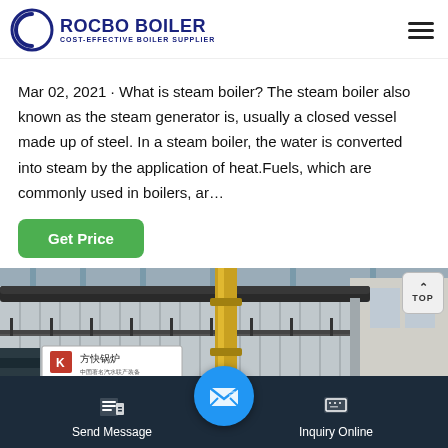ROCBO BOILER - COST-EFFECTIVE BOILER SUPPLIER
Mar 02, 2021 · What is steam boiler? The steam boiler also known as the steam generator is, usually a closed vessel made up of steel. In a steam boiler, the water is converted into steam by the application of heat.Fuels, which are commonly used in boilers, ar…
[Figure (photo): Industrial steam boiler facility showing large metallic boiler units with Chinese signage (方快锅炉) and pipework inside a factory building]
Send Message | Inquiry Online